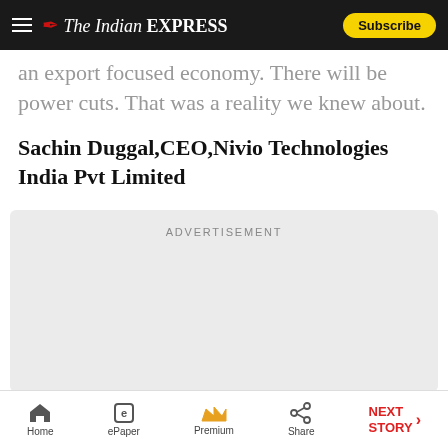The Indian EXPRESS — Subscribe
an export focused economy. There will be power cuts. That was a reality we knew about.
Sachin Duggal,CEO,Nivio Technologies India Pvt Limited
[Figure (other): Advertisement placeholder box with label ADVERTISEMENT]
Home  ePaper  Premium  Share  NEXT STORY